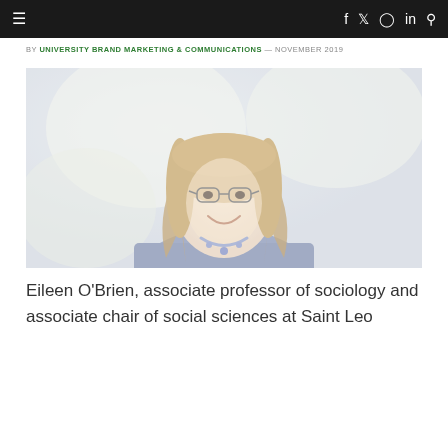≡  f  𝕏  ⊙  in  🔍
BY UNIVERSITY BRAND MARKETING & COMMUNICATIONS — NOVEMBER 2019
[Figure (photo): Portrait photo of Eileen O'Brien, a woman with long wavy hair, glasses, and a blue jacket, smiling outdoors with a soft blurred background.]
Eileen O'Brien, associate professor of sociology and associate chair of social sciences at Saint Leo University